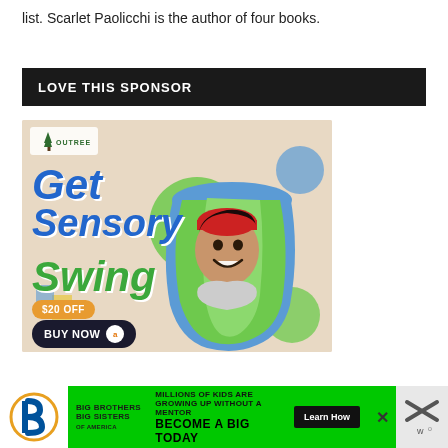list. Scarlet Paolicchi is the author of four books.
LOVE THIS SPONSOR
[Figure (photo): Outree advertisement showing a child smiling inside a green and blue sensory swing hammock. Text reads 'Get Sensory Swing', '$20 OFF', 'BUY NOW' with Amazon logo. Outree logo in top left.]
[Figure (infographic): Big Brothers Big Sisters banner ad. Green background. Text: 'MILLIONS OF KIDS ARE GROWING UP WITHOUT A MENTOR. BECOME A BIG TODAY' with 'Learn How' button.]